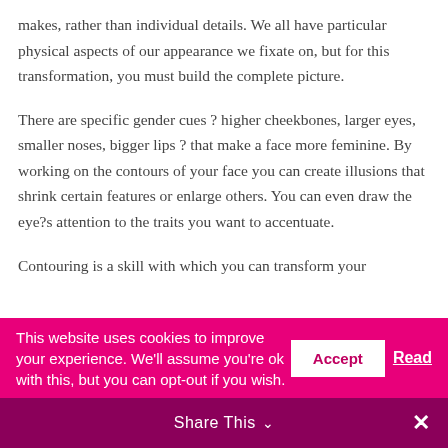makes, rather than individual details. We all have particular physical aspects of our appearance we fixate on, but for this transformation, you must build the complete picture.
There are specific gender cues ? higher cheekbones, larger eyes, smaller noses, bigger lips ? that make a face more feminine. By working on the contours of your face you can create illusions that shrink certain features or enlarge others. You can even draw the eye?s attention to the traits you want to accentuate.
Contouring is a skill with which you can transform your
This website uses cookies to improve your experience. We'll assume you're ok with this, but you can opt-out if you wish. Accept Read
Share This